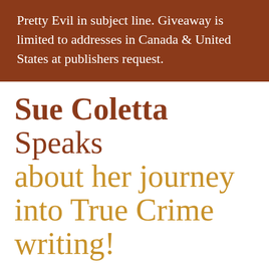Pretty Evil in subject line. Giveaway is limited to addresses in Canada & United States at publishers request.
Sue Coletta Speaks about her journey into True Crime writing!
June invited me to Murder in Common to discuss my transition from crime fiction to true crime. In particular, she asked three questions…